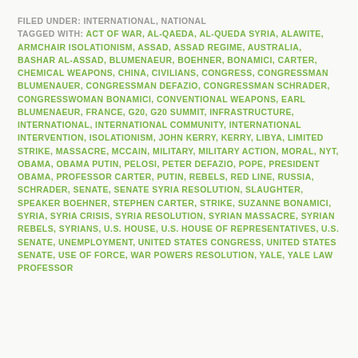FILED UNDER: INTERNATIONAL, NATIONAL
TAGGED WITH: ACT OF WAR, AL-QAEDA, AL-QUEDA SYRIA, ALAWITE, ARMCHAIR ISOLATIONISM, ASSAD, ASSAD REGIME, AUSTRALIA, BASHAR AL-ASSAD, BLUMENAEUR, BOEHNER, BONAMICI, CARTER, CHEMICAL WEAPONS, CHINA, CIVILIANS, CONGRESS, CONGRESSMAN BLUMENAUER, CONGRESSMAN DEFAZIO, CONGRESSMAN SCHRADER, CONGRESSWOMAN BONAMICI, CONVENTIONAL WEAPONS, EARL BLUMENAEUR, FRANCE, G20, G20 SUMMIT, INFRASTRUCTURE, INTERNATIONAL, INTERNATIONAL COMMUNITY, INTERNATIONAL INTERVENTION, ISOLATIONISM, JOHN KERRY, KERRY, LIBYA, LIMITED STRIKE, MASSACRE, MCCAIN, MILITARY, MILITARY ACTION, MORAL, NYT, OBAMA, OBAMA PUTIN, PELOSI, PETER DEFAZIO, POPE, PRESIDENT OBAMA, PROFESSOR CARTER, PUTIN, REBELS, RED LINE, RUSSIA, SCHRADER, SENATE, SENATE SYRIA RESOLUTION, SLAUGHTER, SPEAKER BOEHNER, STEPHEN CARTER, STRIKE, SUZANNE BONAMICI, SYRIA, SYRIA CRISIS, SYRIA RESOLUTION, SYRIAN MASSACRE, SYRIAN REBELS, SYRIANS, U.S. HOUSE, U.S. HOUSE OF REPRESENTATIVES, U.S. SENATE, UNEMPLOYMENT, UNITED STATES CONGRESS, UNITED STATES SENATE, USE OF FORCE, WAR POWERS RESOLUTION, YALE, YALE LAW PROFESSOR